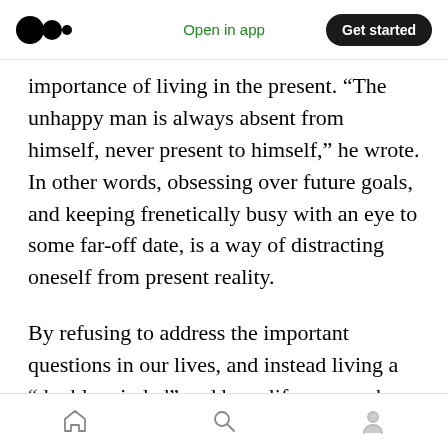Medium logo | Open in app | Get started
importance of living in the present. “The unhappy man is always absent from himself, never present to himself,” he wrote. In other words, obsessing over future goals, and keeping frenetically busy with an eye to some far-off date, is a way of distracting oneself from present reality.
By refusing to address the important questions in our lives, and instead living a “double minded” and busy life, we can be afraid to commit to a single person and cause, and so can lead to
Home | Search | Profile